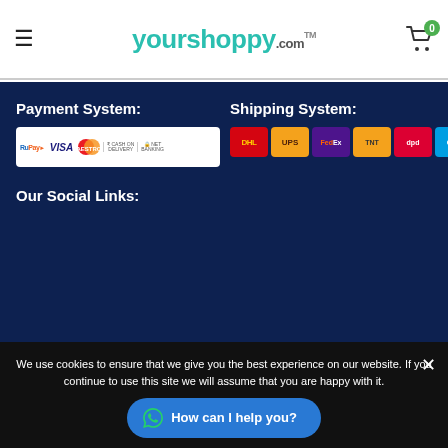yourshoppyr.com
Payment System:
[Figure (logo): Payment method logos: RuPay, VISA, Maestro, Cash on Delivery, Net Banking]
Shipping System:
[Figure (logo): Shipping logos: DHL, UPS, FedEx, TNT, dpd, GLS]
Our Social Links:
We use cookies to ensure that we give you the best experience on our website. If you continue to use this site we will assume that you are happy with it.
[Figure (other): WhatsApp chat button: How can I help you?]